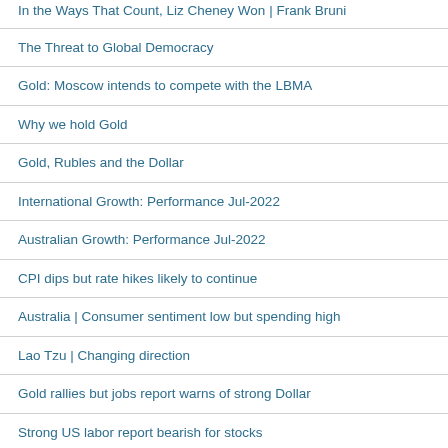In the Ways That Count, Liz Cheney Won | Frank Bruni
The Threat to Global Democracy
Gold: Moscow intends to compete with the LBMA
Why we hold Gold
Gold, Rubles and the Dollar
International Growth: Performance Jul-2022
Australian Growth: Performance Jul-2022
CPI dips but rate hikes likely to continue
Australia | Consumer sentiment low but spending high
Lao Tzu | Changing direction
Gold rallies but jobs report warns of strong Dollar
Strong US labor report bearish for stocks